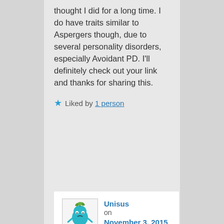thought I did for a long time. I do have traits similar to Aspergers though, due to several personality disorders, especially Avoidant PD. I'll definitely check out your link and thanks for sharing this.
★ Liked by 1 person
Unisus on November 3, 2015 at 10:37 pm said:
I understand. I just launched an